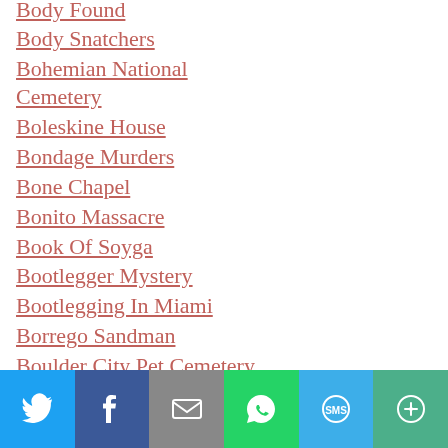Body Found
Body Snatchers
Bohemian National Cemetery
Boleskine House
Bondage Murders
Bone Chapel
Bonito Massacre
Book Of Soyga
Bootlegger Mystery
Bootlegging In Miami
Borrego Sandman
Boulder City Pet Cemetery
Bounty Hunter
Bowery King
Boxer Rebellion
Bram Stoker
Social share bar: Twitter, Facebook, Email, WhatsApp, SMS, More